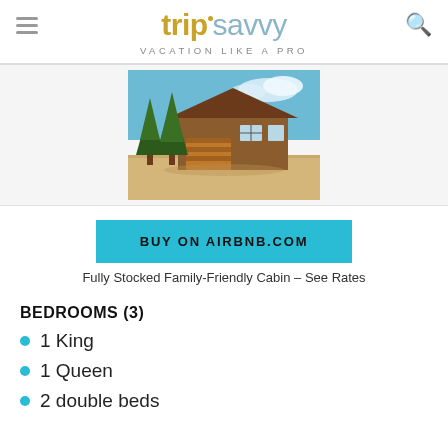tripsavvy VACATION LIKE A PRO
[Figure (photo): Exterior photo of a wood cabin with tall pine trees, blue sky, and sandy ground with a garage door visible]
BUY ON AIRBNB.COM
Fully Stocked Family-Friendly Cabin – See Rates
BEDROOMS (3)
1 King
1 Queen
2 double beds